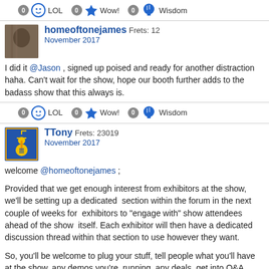[Figure (infographic): Reaction bar with LOL, Wow!, Wisdom icons each showing count of 0]
[Figure (photo): Avatar photo of homeoftonejames - wood/guitar detail]
homeoftonejames Frets: 12
November 2017
I did it @Jason , signed up poised and ready for another distraction haha. Can't wait for the show, hope our booth further adds to the badass show that this always is.
[Figure (infographic): Reaction bar with LOL, Wow!, Wisdom icons each showing count of 0]
[Figure (illustration): Avatar for TTony - blue square with yellow electric guitar icon]
TTony Frets: 23019
November 2017
welcome @homeoftonejames ;
Provided that we get enough interest from exhibitors at the show, we'll be setting up a dedicated  section within the forum in the next couple of weeks for  exhibitors to "engage with" show attendees ahead of the show  itself. Each exhibitor will then have a dedicated discussion thread within that section to use however they want.
So, you'll be welcome to plug your stuff, tell people what you'll have at the show, any demos you're  running, any deals, get into Q&A,  and more or less